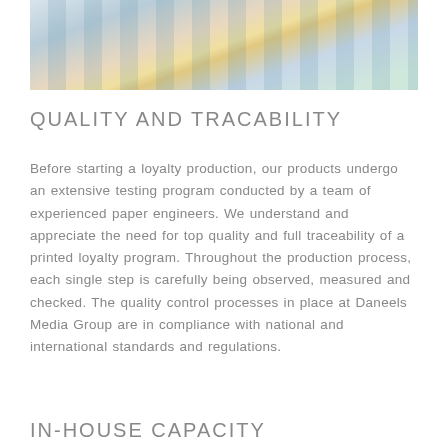[Figure (photo): Photo showing printed loyalty card sheets/stationery with colorful printing layouts on a table]
QUALITY AND TRACABILITY
Before starting a loyalty production, our products undergo an extensive testing program conducted by a team of experienced paper engineers. We understand and appreciate the need for top quality and full traceability of a printed loyalty program. Throughout the production process, each single step is carefully being observed, measured and checked. The quality control processes in place at Daneels Media Group are in compliance with national and international standards and regulations.
IN-HOUSE CAPACITY